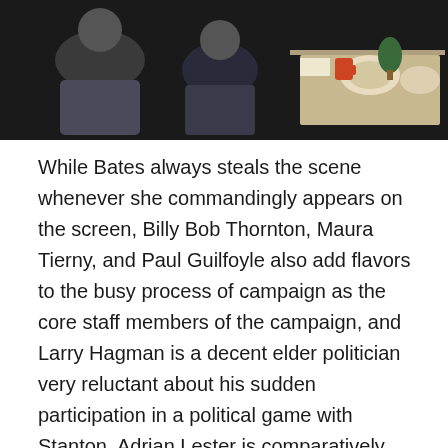[Figure (photo): A black and white or dark-toned photograph showing people sitting, with a table visible on the right side containing dishes and items.]
While Bates always steals the scene whenever she commandingly appears on the screen, Billy Bob Thornton, Maura Tierny, and Paul Guilfoyle also add flavors to the busy process of campaign as the core staff members of the campaign, and Larry Hagman is a decent elder politician very reluctant about his sudden participation in a political game with Stanton. Adrian Lester is comparatively colorless as the observer of the story, but his approach is appropriate as an observant hero who gets enlightened more by his impressive experience with Stanton and his campaign. Burton may compromise his standard by changing his mind around the ending, but the movie does not judge his decision or Stanton's persuasion behind it.